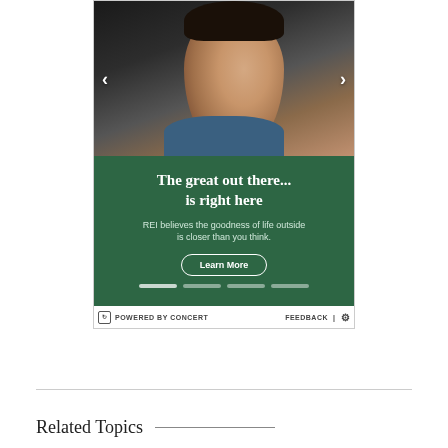[Figure (photo): Advertisement banner showing a woman with eyes closed tilting her face upward toward sunlight, wearing a blue jacket. Green panel below with headline text and Learn More button. Navigation arrows on left and right sides.]
POWERED BY CONCERT
FEEDBACK
Related Topics